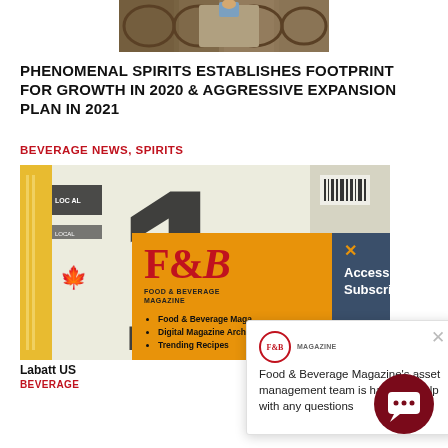[Figure (photo): Partial product/barrel photo at top of page]
PHENOMENAL SPIRITS ESTABLISHES FOOTPRINT FOR GROWTH IN 2020 & AGGRESSIVE EXPANSION PLAN IN 2021
BEVERAGE NEWS, SPIRITS
[Figure (photo): Product box image with F&B Magazine popup overlay and subscription dialog overlays including chat bubble]
Labatt US
BEVERA...
Food & Beverage Magazine's asset management team is happy to help with any questions